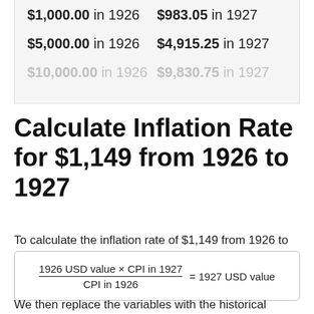| 1926 amount | 1927 equivalent |
| --- | --- |
| $1,000.00 in 1926 | $983.05 in 1927 |
| $5,000.00 in 1926 | $4,915.25 in 1927 |
| $10,000.00 in 1926 | $9,830.75 in 1927 |
Calculate Inflation Rate for $1,149 from 1926 to 1927
To calculate the inflation rate of $1,149 from 1926 to 1927, we use the following formula:
We then replace the variables with the historical